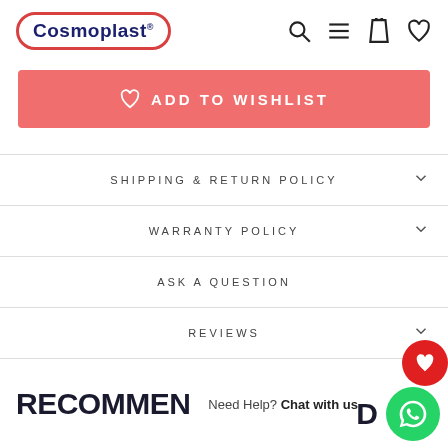[Figure (logo): Cosmoplast logo — white text on blue background inside red oval border]
[Figure (screenshot): Navigation icons: search (magnifier), hamburger menu, shopping bag, heart/wishlist]
ADD TO WISHLIST
SHIPPING & RETURN POLICY
WARRANTY POLICY
ASK A QUESTION
REVIEWS
RECOMMEN
Need Help? Chat with us
D